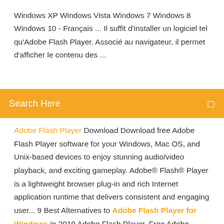Windows XP Windows Vista Windows 7 Windows 8 Windows 10 - Français ... Il suffit d'installer un logiciel tel qu'Adobe Flash Player. Associé au navigateur, il permet d'afficher le contenu des ...
Search Here
Adobe Flash Player Download Download free Adobe Flash Player software for your Windows, Mac OS, and Unix-based devices to enjoy stunning audio/video playback, and exciting gameplay. Adobe® Flash® Player is a lightweight browser plug-in and rich Internet application runtime that delivers consistent and engaging user... 9 Best Alternatives to Adobe Flash Player for Windows in 2019 Adobe Flash Player. Free Adobe Systems Windows XP/2003/Vista/Server 2008/7. Top 9 Other Browser Add-ons & Plugin apps that are similar to Adobe Flash Player for Windows. Alternatives. Download Adobe Flash Player